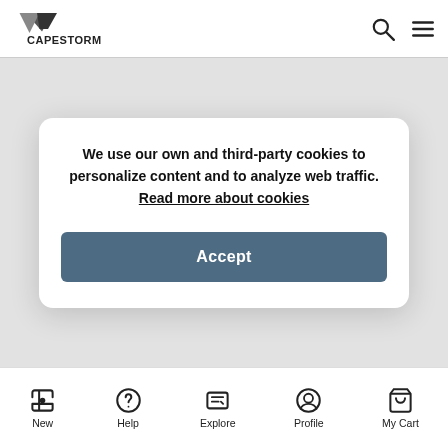Capestorm
We use our own and third-party cookies to personalize content and to analyze web traffic. Read more about cookies
Accept
New | Help | Explore | Profile | My Cart